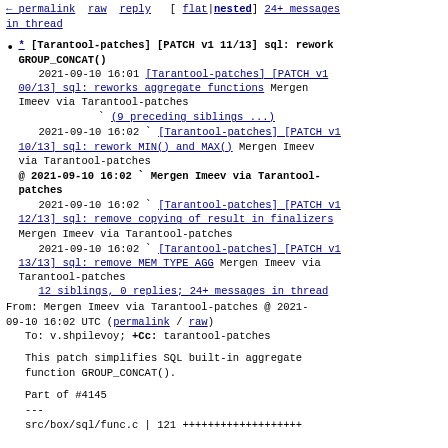← permalink raw reply [ flat|nested] 24+ messages in thread
* [Tarantool-patches] [PATCH v1 11/13] sql: rework GROUP_CONCAT()
2021-09-10 16:01 [Tarantool-patches] [PATCH v1 00/13] sql: reworks aggregate functions Mergen Imeev via Tarantool-patches
` (9 preceding siblings ...)
2021-09-10 16:02 ` [Tarantool-patches] [PATCH v1 10/13] sql: rework MIN() and MAX() Mergen Imeev via Tarantool-patches
@ 2021-09-10 16:02 ` Mergen Imeev via Tarantool-patches
2021-09-10 16:02 ` [Tarantool-patches] [PATCH v1 12/13] sql: remove copying of result in finalizers Mergen Imeev via Tarantool-patches
2021-09-10 16:02 ` [Tarantool-patches] [PATCH v1 13/13] sql: remove MEM TYPE AGG Mergen Imeev via Tarantool-patches
12 siblings, 0 replies; 24+ messages in thread
From: Mergen Imeev via Tarantool-patches @ 2021-09-10 16:02 UTC (permalink / raw)
To: v.shpilevoy; +Cc: tarantool-patches
This patch simplifies SQL built-in aggregate function GROUP_CONCAT().
Part of #4145
---
 src/box/sql/func.c | 121 +++++++++++++++++++